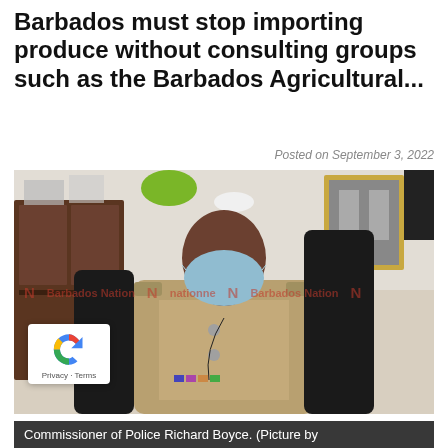Barbados must stop importing produce without consulting groups such as the Barbados Agricultural...
Posted on September 3, 2022
[Figure (photo): Commissioner of Police Richard Boyce seated in office chair wearing police uniform and blue face mask, with office furniture and framed photo in background. Barbados Nation watermark visible.]
Commissioner of Police Richard Boyce. (Picture by